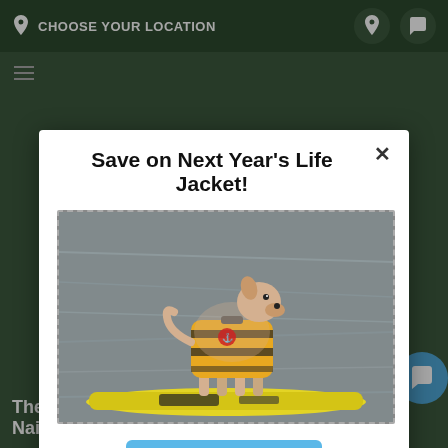CHOOSE YOUR LOCATION
Save on Next Year's Life Jacket!
[Figure (photo): A dog wearing a yellow life jacket standing on a paddleboard on water]
Claim Offer ✓
The Very Be... Nail Caps supplies. In-Store Pickup
help you today?